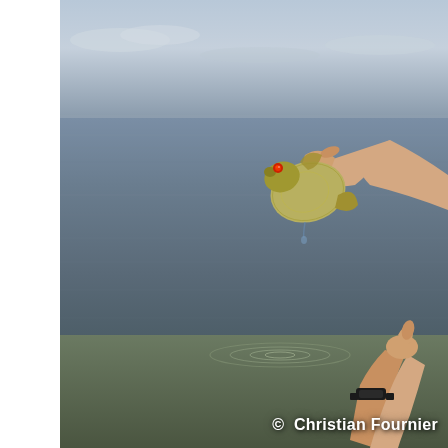[Figure (photo): A person holding a small fish (appears to be a sunfish or crappie with a red eye) up by its mouth with one hand raised above water, while the other hand emerges from the water below giving a thumbs-up gesture. The background shows open water with a calm surface and ripples below, blue-gray lake or bay water, and a light blue sky with clouds along the horizon.]
© Christian Fournier